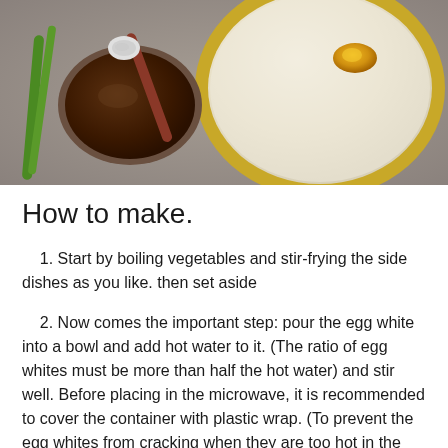[Figure (photo): Overhead photo of a bowl of rice porridge/congee with egg yolk on top in a wooden bowl, a glass bowl of dark sauce with a spoon, and green onions on a stone surface.]
How to make.
1. Start by boiling vegetables and stir-frying the side dishes as you like. then set aside
2. Now comes the important step: pour the egg white into a bowl and add hot water to it. (The ratio of egg whites must be more than half the hot water) and stir well. Before placing in the microwave, it is recommended to cover the container with plastic wrap. (To prevent the egg whites from cracking when they are too hot in the microwave.)